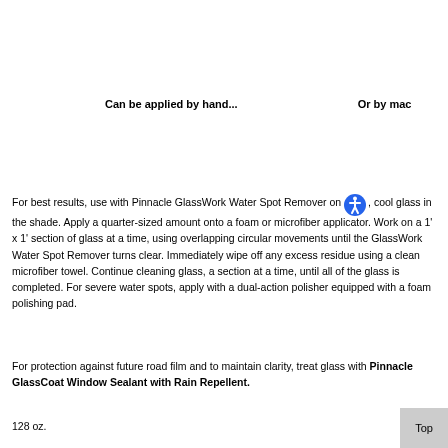Can be applied by hand...
Or by mac
For best results, use with Pinnacle GlassWork Water Spot Remover on , cool glass in the shade. Apply a quarter-sized amount onto a foam or microfiber applicator. Work on a 1' x 1' section of glass at a time, using overlapping circular movements until the GlassWork Water Spot Remover turns clear. Immediately wipe off any excess residue using a clean microfiber towel. Continue cleaning glass, a section at a time, until all of the glass is completed. For severe water spots, apply with a dual-action polisher equipped with a foam polishing pad.
For protection against future road film and to maintain clarity, treat glass with Pinnacle GlassCoat Window Sealant with Rain Repellent.
128 oz.